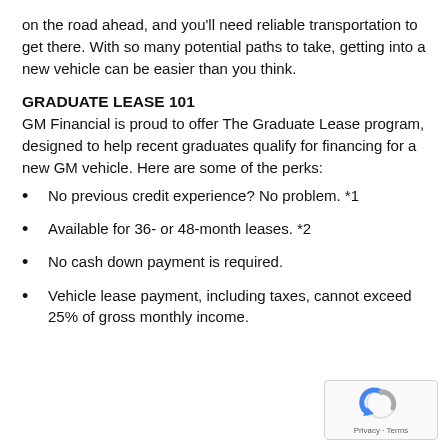on the road ahead, and you'll need reliable transportation to get there. With so many potential paths to take, getting into a new vehicle can be easier than you think.
GRADUATE LEASE 101
GM Financial is proud to offer The Graduate Lease program, designed to help recent graduates qualify for financing for a new GM vehicle. Here are some of the perks:
No previous credit experience? No problem. *1
Available for 36- or 48-month leases. *2
No cash down payment is required.
Vehicle lease payment, including taxes, cannot exceed 25% of gross monthly income.
[Figure (logo): reCAPTCHA logo with Privacy and Terms text]